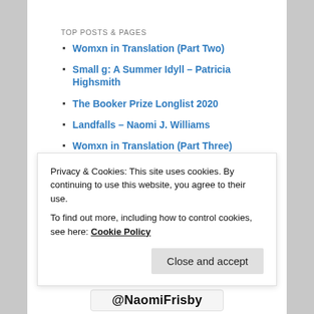TOP POSTS & PAGES
Womxn in Translation (Part Two)
Small g: A Summer Idyll – Patricia Highsmith
The Booker Prize Longlist 2020
Landfalls – Naomi J. Williams
Womxn in Translation (Part Three)
Jersey Festival of Words, Day Two
A Little Life – Hanya Yanagihara
Reading Diary #3: Womxn in Translation (Part One)
The Country of Ice Cream Star – Sandra Newman
Books of the Year 2020
Privacy & Cookies: This site uses cookies. By continuing to use this website, you agree to their use.
To find out more, including how to control cookies, see here: Cookie Policy
Close and accept
@NaomiFrisby